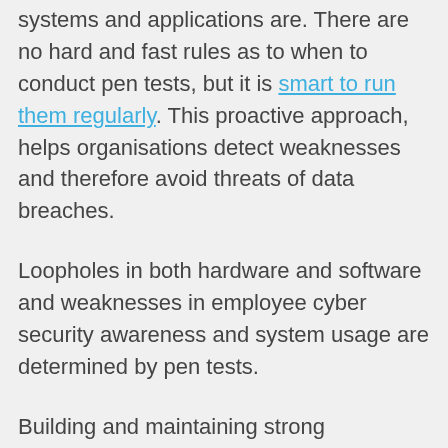systems and applications are. There are no hard and fast rules as to when to conduct pen tests, but it is smart to run them regularly. This proactive approach, helps organisations detect weaknesses and therefore avoid threats of data breaches.
Loopholes in both hardware and software and weaknesses in employee cyber security awareness and system usage are determined by pen tests.
Building and maintaining strong confidence in terms of secure information systems is achieved through ongoing security – regular penetration testing allows the organisation to stay up to date and counter any (new) attack threats. Penetration tests help measure performance and lead technology